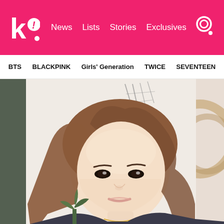Koreaboo — News | Lists | Stories | Exclusives
BTS | BLACKPINK | Girls' Generation | TWICE | SEVENTEEN
[Figure (photo): Young Asian woman with medium-length auburn/brown wavy hair taking a selfie indoors. She has fair skin, subtle makeup with light pink lips, and is wearing a dark top with a thin gold necklace. Background shows white walls with some artwork and a wooden circular object.]